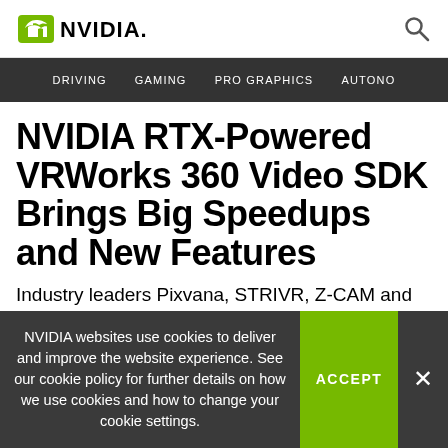NVIDIA [logo] [search icon]
DRIVING  GAMING  PRO GRAPHICS  AUTONO
NVIDIA RTX-Powered VRWorks 360 Video SDK Brings Big Speedups and New Features
Industry leaders Pixvana, STRIVR, Z-CAM and Mobile Viewpoint rally around benefits of new SDK 3.0
NVIDIA websites use cookies to deliver and improve the website experience. See our cookie policy for further details on how we use cookies and how to change your cookie settings.
ACCEPT
×